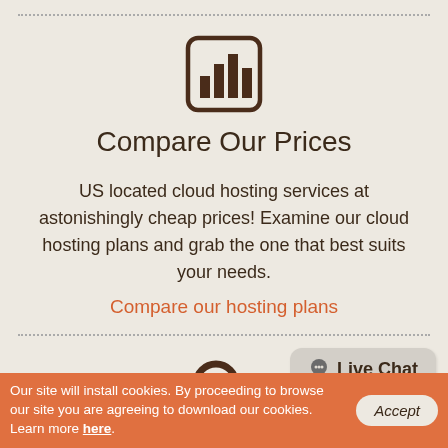[Figure (illustration): Bar chart icon in a rounded square border, brown color]
Compare Our Prices
US located cloud hosting services at astonishingly cheap prices! Examine our cloud hosting plans and grab the one that best suits your needs.
Compare our hosting plans
[Figure (illustration): Magnifying glass search icon, brown color]
Why Us
[Figure (illustration): Live Chat speech bubble widget in gray]
Our site will install cookies. By proceeding to browse our site you are agreeing to download our cookies. Learn more here.